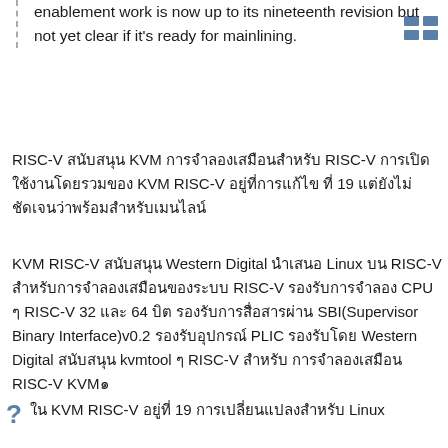enablement work is now up to its nineteenth revision but not yet clear if it's ready for mainlining.
RISC-V สนับสนุน KVM การจำลองเสมือนสำหรับ RISC-V การเปิดใช้งานโดยรวมของ KVM RISC-V อยู่ที่การแก้ไข ที่ 19 แต่ยังไม่ชัดเจนว่าพร้อมสำหรับเมนไลน์
KVM RISC-V สนับสนุน Western Digital นำเสนอ Linux บน RISC-V สำหรับการจำลองเสมือนของระบบ RISC-V รองรับการจำลอง CPU ๆ RISC-V 32 และ 64 บิต รองรับการสื่อสารผ่าน SBI(Supervisor Binary Interface)v0.2 รองรับอุปกรณ์ PLIC รองรับโดย Western Digital สนับสนุน kvmtool ๆ RISC-V สำหรับ การจำลองเสมือน RISC-V KVM๑
ใน KVM RISC-V อยู่ที่ 19 การเปลี่ยนแปลงสำหรับ Linux